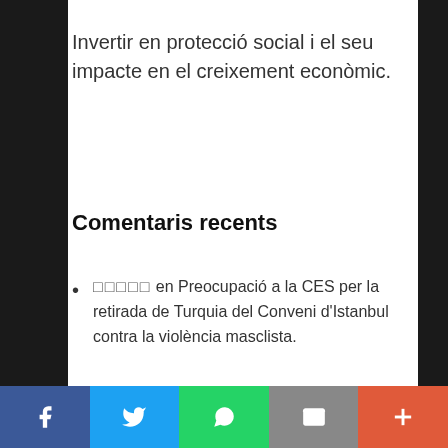Invertir en protecció social i el seu impacte en el creixement econòmic.
Comentaris recents
□□□□□ en Preocupació a la CES per la retirada de Turquia del Conveni d'Istanbul contra la violència masclista.
□□□□□ en L'enorme caiguda de les inspeccions de treball augmenta el risc de Covid
Este sitio web utilitza cookies para mejorar su experiencia. Si continua navegando, consideramos que Acepta su uso.